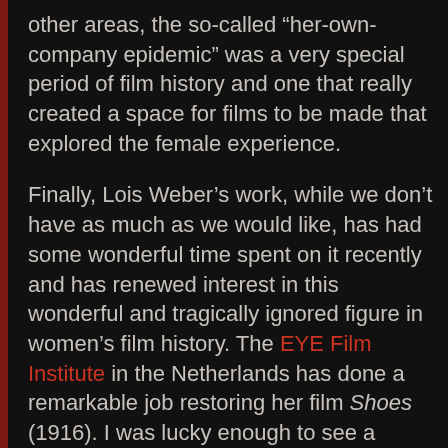other areas, the so-called “her-own-company epidemic” was a very special period of film history and one that really created a space for films to be made that explored the female experience.
Finally, Lois Weber’s work, while we don’t have as much as we would like, has had some wonderful time spent on it recently and has renewed interest in this wonderful and tragically ignored figure in women’s film history. The EYE Film Institute in the Netherlands has done a remarkable job restoring her film Shoes (1916). I was lucky enough to see a presentation about it at an archivist’s conference a while back and the